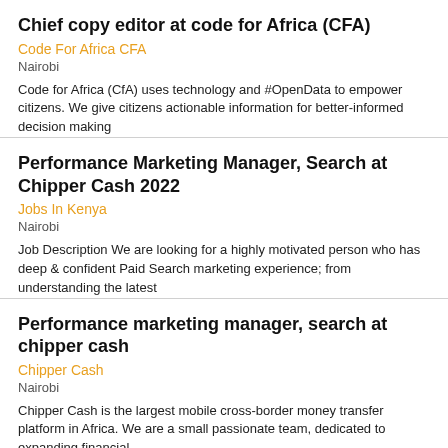Chief copy editor at code for Africa (CFA)
Code For Africa CFA
Nairobi
Code for Africa (CfA) uses technology and #OpenData to empower citizens. We give citizens actionable information for better-informed decision making
Performance Marketing Manager, Search at Chipper Cash 2022
Jobs In Kenya
Nairobi
Job Description We are looking for a highly motivated person who has deep & confident Paid Search marketing experience; from understanding the latest
Performance marketing manager, search at chipper cash
Chipper Cash
Nairobi
Chipper Cash is the largest mobile cross-border money transfer platform in Africa. We are a small passionate team, dedicated to expanding financial
Academic research editor job
Corporate Staffing Services